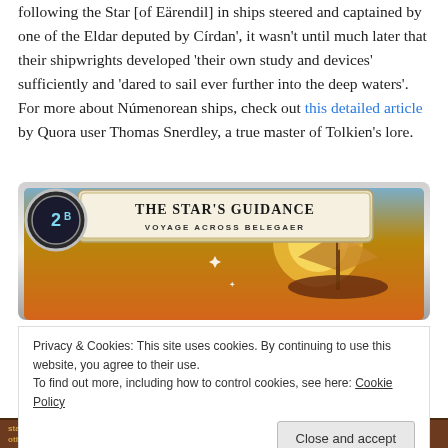following the Star [of Eärendil] in ships steered and captained by one of the Eldar deputed by Círdan', it wasn't until much later that their shipwrights developed 'their own study and devices' sufficiently and 'dared to sail ever further into the deep waters'. For more about Númenorean ships, check out this detailed article by Quora user Thomas Snerdley, a true master of Tolkien's lore.
[Figure (photo): A game card titled 'The Star's Guidance' with subtitle 'Voyage Across Belegaer'. The card shows a ship with sails on golden waters, with a circular token showing '2b' on the left side. The card has an ornate silver border.]
Privacy & Cookies: This site uses cookies. By continuing to use this website, you agree to their use.
To find out more, including how to control cookies, see here: Cookie Policy
Close and accept
stages of the quest deck and advance to one of your choice, placing the other on the bottom of the quest deck. Otherwise, advance to the top stage